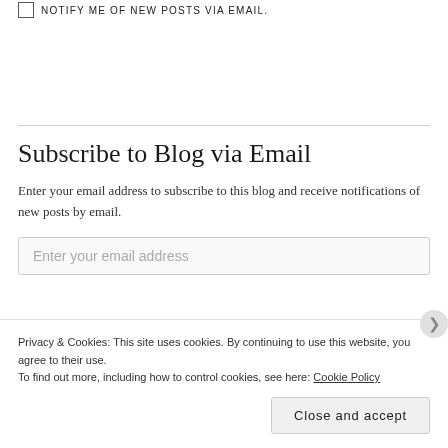NOTIFY ME OF NEW POSTS VIA EMAIL.
Enter your email address to subscribe to this blog and receive notifications of new posts by email.
Subscribe to Blog via Email
Enter your email address
Privacy & Cookies: This site uses cookies. By continuing to use this website, you agree to their use. To find out more, including how to control cookies, see here: Cookie Policy
Close and accept